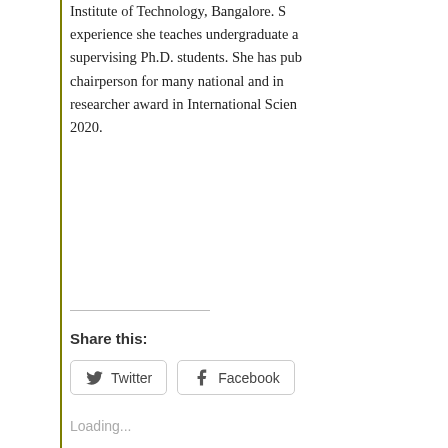Institute of Technology, Bangalore. She experience she teaches undergraduate a supervising Ph.D. students. She has pub chairperson for many national and in researcher award in International Scien 2020.
Share this:
Twitter  Facebook
Loading...
Leave a Reply
Your email address will not be published.
Comment *